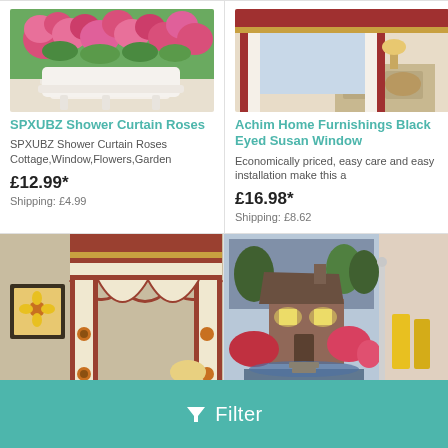[Figure (photo): Pink roses/flowers in a white planter, top-cropped product photo]
SPXUBZ Shower Curtain Roses
SPXUBZ Shower Curtain Roses Cottage,Window,Flowers,Garden
£12.99*
Shipping: £4.99
[Figure (photo): Window curtain with burgundy trim in a bedroom, top-cropped product photo]
Achim Home Furnishings Black Eyed Susan Window
Economically priced, easy care and easy installation make this a
£16.98*
Shipping: £8.62
[Figure (photo): Sunflower swag curtain set with valance in a country kitchen setting]
[Figure (photo): Shower curtain with a painted cottage scene in a bathroom]
Filter